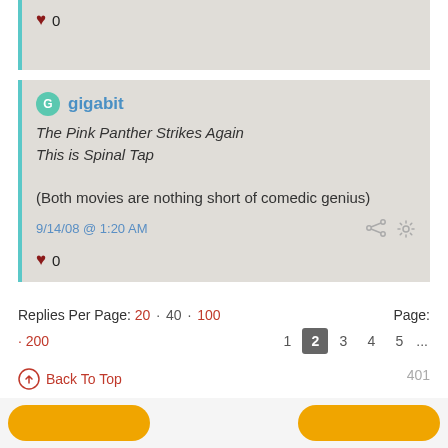♥ 0
gigabit
The Pink Panther Strikes Again
This is Spinal Tap

(Both movies are nothing short of comedic genius)

9/14/08 @ 1:20 AM
♥ 0
Replies Per Page: 20 · 40 · 100 · 200   Page: 1 2 3 4 5 ... 401
Back To Top